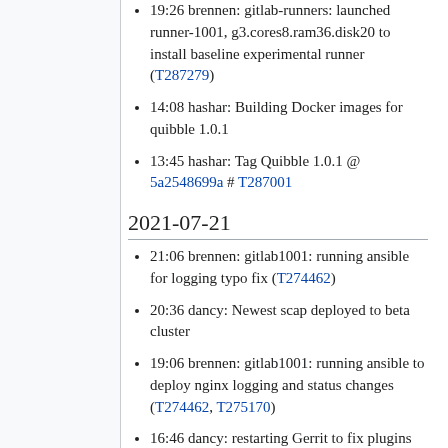19:26 brennen: gitlab-runners: launched runner-1001, g3.cores8.ram36.disk20 to install baseline experimental runner (T287279)
14:08 hashar: Building Docker images for quibble 1.0.1
13:45 hashar: Tag Quibble 1.0.1 @ 5a2548699a # T287001
2021-07-21
21:06 brennen: gitlab1001: running ansible for logging typo fix (T274462)
20:36 dancy: Newest scap deployed to beta cluster
19:06 brennen: gitlab1001: running ansible to deploy nginx logging and status changes (T274462, T275170)
16:46 dancy: restarting Gerrit to fix plugins